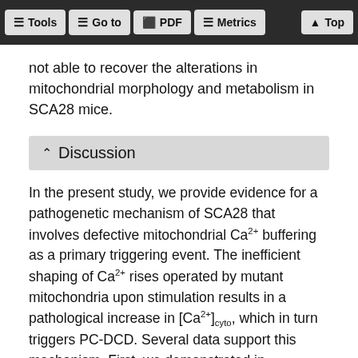Tools  Go to  PDF  Metrics  Top
not able to recover the alterations in mitochondrial morphology and metabolism in SCA28 mice.
Discussion
In the present study, we provide evidence for a pathogenetic mechanism of SCA28 that involves defective mitochondrial Ca2+ buffering as a primary triggering event. The inefficient shaping of Ca2+ rises operated by mutant mitochondria upon stimulation results in a pathological increase in [Ca2+]cyto, which in turn triggers PC-DCD. Several data support this mechanism. First, we demonstrated in cerebellar slices treated with AMPA that Afg3l2−/− and Afg3l2+/− PCs are more prone to undergo DCD, indicating a reduced ability of mutant cells to cope with stimuli